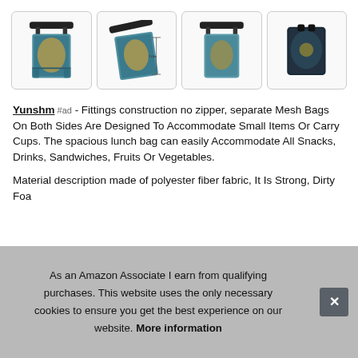[Figure (photo): Four product images of a decorative lunch bag/tote with a fantasy giraffe print pattern, shown from different angles including front, with dimensions, side, and folded/top view.]
Yunshm #ad - Fittings construction no zipper, separate Mesh Bags On Both Sides Are Designed To Accommodate Small Items Or Carry Cups. The spacious lunch bag can easily Accommodate All Snacks, Drinks, Sandwiches, Fruits Or Vegetables.
Material description made of polyester fiber fabric, It Is Strong, Dirty Foa...
As an Amazon Associate I earn from qualifying purchases. This website uses the only necessary cookies to ensure you get the best experience on our website. More information